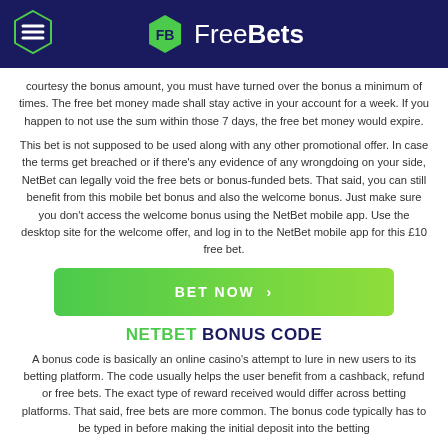FreeBets
courtesy the bonus amount, you must have turned over the bonus a minimum of times. The free bet money made shall stay active in your account for a week. If you happen to not use the sum within those 7 days, the free bet money would expire.
This bet is not supposed to be used along with any other promotional offer. In case the terms get breached or if there's any evidence of any wrongdoing on your side, NetBet can legally void the free bets or bonus-funded bets. That said, you can still benefit from this mobile bet bonus and also the welcome bonus. Just make sure you don't access the welcome bonus using the NetBet mobile app. Use the desktop site for the welcome offer, and log in to the NetBet mobile app for this £10 free bet.
[Figure (other): Green BET NOW button with arrow]
NETBET BONUS CODE
A bonus code is basically an online casino's attempt to lure in new users to its betting platform. The code usually helps the user benefit from a cashback, refund or free bets. The exact type of reward received would differ across betting platforms. That said, free bets are more common. The bonus code typically has to be typed in before making the initial deposit into the betting